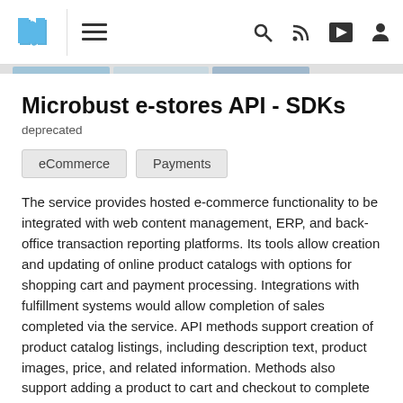Microbust e-stores API - SDKs [navigation bar with logo, hamburger menu, search, RSS, share, user icons]
Microbust e-stores API - SDKs
deprecated
eCommerce
Payments
The service provides hosted e-commerce functionality to be integrated with web content management, ERP, and back-office transaction reporting platforms. Its tools allow creation and updating of online product catalogs with options for shopping cart and payment processing. Integrations with fulfillment systems would allow completion of sales completed via the service. API methods support creation of product catalog listings, including description text, product images, price, and related information. Methods also support adding a product to cart and checkout to complete payment and trigger fulfillment processes